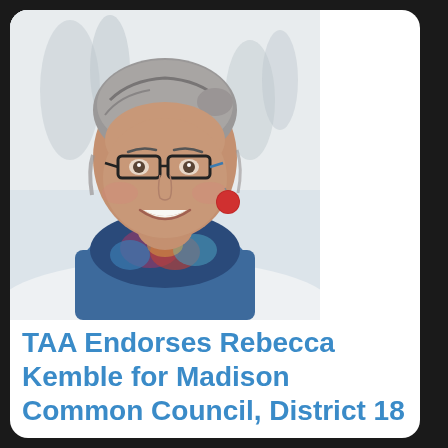[Figure (photo): Portrait photo of Rebecca Kemble, a woman with gray-streaked hair pulled back, wearing black rectangular glasses, red circular earrings, a colorful patterned scarf, and a blue jacket. She is smiling. The background is a snowy outdoor scene with bare trees.]
TAA Endorses Rebecca Kemble for Madison Common Council, District 18
February 1, 2021